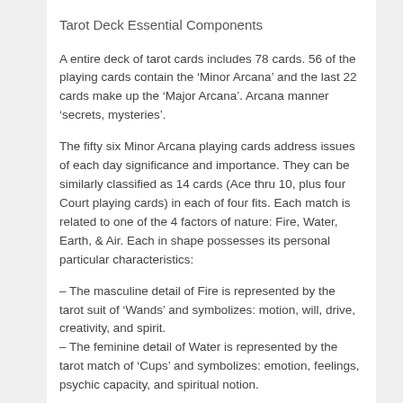Tarot Deck Essential Components
A entire deck of tarot cards includes 78 cards. 56 of the playing cards contain the ‘Minor Arcana’ and the last 22 cards make up the ‘Major Arcana’. Arcana manner ‘secrets, mysteries’.
The fifty six Minor Arcana playing cards address issues of each day significance and importance. They can be similarly classified as 14 cards (Ace thru 10, plus four Court playing cards) in each of four fits. Each match is related to one of the 4 factors of nature: Fire, Water, Earth, & Air. Each in shape possesses its personal particular characteristics:
– The masculine detail of Fire is represented by the tarot suit of ‘Wands’ and symbolizes: motion, will, drive, creativity, and spirit.
– The feminine detail of Water is represented by the tarot match of ‘Cups’ and symbolizes: emotion, feelings, psychic capacity, and spiritual notion.